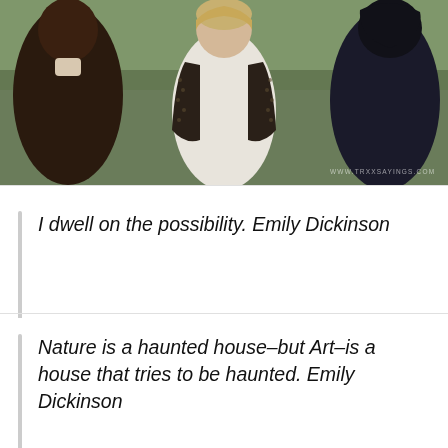[Figure (photo): A period-drama scene with three figures outdoors. Center figure is a woman in a white dress and dark patterned shawl/jacket, facing forward. Left figure is partially visible in dark clothing. Right figure wears a dark bonnet and dress. Background shows blurred green landscape. Watermark reads 'WWW.TRXXSAYINGS.COM' at bottom right.]
I dwell on the possibility. Emily Dickinson
Nature is a haunted house–but Art–is a house that tries to be haunted. Emily Dickinson